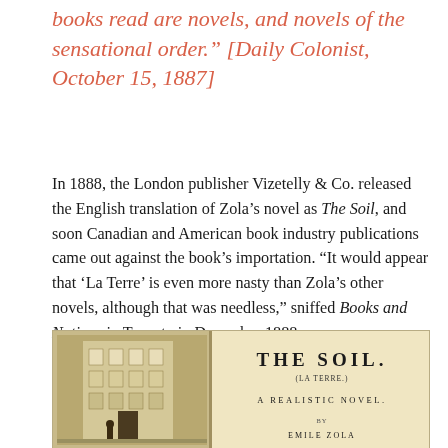books read are novels, and novels of the sensational order." [Daily Colonist, October 15, 1887]
In 1888, the London publisher Vizetelly & Co. released the English translation of Zola’s novel as The Soil, and soon Canadian and American book industry publications came out against the book’s importation. “It would appear that ‘La Terre’ is even more nasty than Zola’s other novels, although that was needless,” sniffed Books and Notions in Toronto in December 1888.
[Figure (illustration): Title page spread of 'The Soil' (La Terre), A Realistic Novel, by Emile Zola. Left side shows an illustration of a building facade. Right side shows the title page text.]